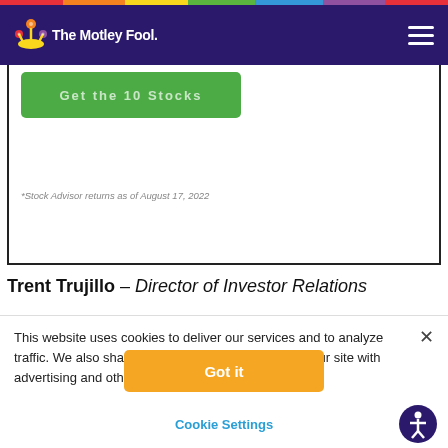The Motley Fool
*Stock Advisor returns as of August 17, 2022
Trent Trujillo – Director of Investor Relations
This website uses cookies to deliver our services and to analyze traffic. We also share information about your use of our site with advertising and other partners. Privacy Policy
Got it
Cookie Settings